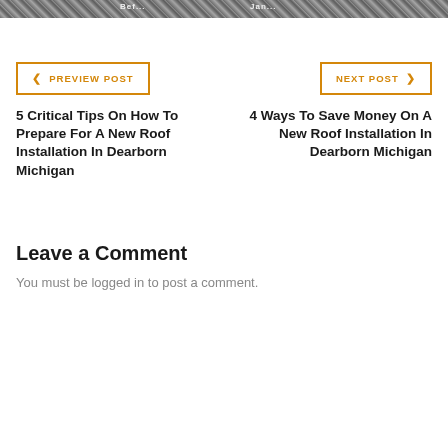[Figure (photo): Partial top of a roof/construction image with text overlays 'Bef' and 'Jan']
< PREVIEW POST
NEXT POST >
5 Critical Tips On How To Prepare For A New Roof Installation In Dearborn Michigan
4 Ways To Save Money On A New Roof Installation In Dearborn Michigan
Leave a Comment
You must be logged in to post a comment.